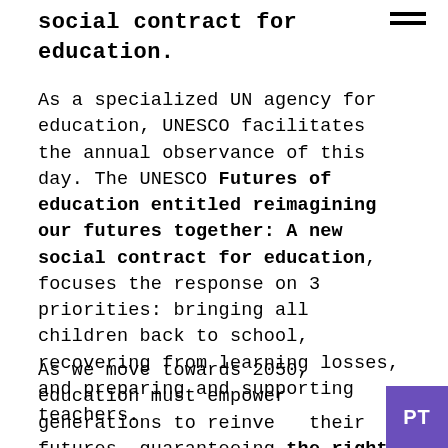social contract for education.
As a specialized UN agency for education, UNESCO facilitates the annual observance of this day. The UNESCO Futures of education entitled reimagining our futures together: A new social contract for education, focuses the response on 3 priorities: bringing all children back to school, recovering from learning losses, and preparing and supporting teachers.
As we move towards 2050, education must empower generations to reinvent their futures, guaranteeing the right to